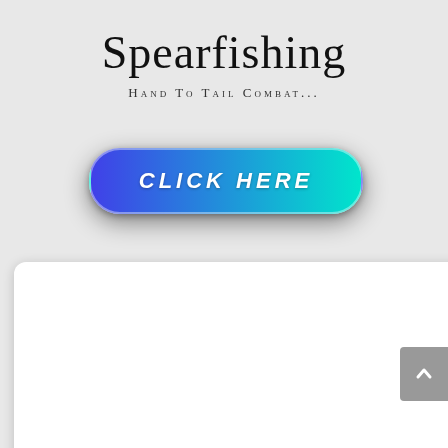Spearfishing
Hand To Tail Combat...
[Figure (other): A rounded rectangular button with a blue-to-cyan gradient and white italic text reading CLICK HERE]
[Figure (other): A white content panel/card with rounded corners and a grey scrollbar arrow button on the right edge]